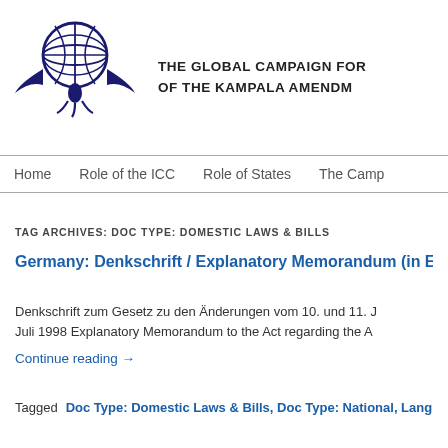[Figure (logo): Globe with bird/wings logo for The Global Campaign for Ratification of the Kampala Amendments]
THE GLOBAL CAMPAIGN FOR
OF THE KAMPALA AMENDM
Home   Role of the ICC   Role of States   The Camp
TAG ARCHIVES: DOC TYPE: DOMESTIC LAWS & BILLS
Germany: Denkschrift / Explanatory Memorandum (in Er
Denkschrift zum Gesetz zu den Änderungen vom 10. und 11. Juli 1998 Explanatory Memorandum to the Act regarding the A
Continue reading →
Tagged   Doc Type: Domestic Laws & Bills,   Doc Type: National,   Lang: G